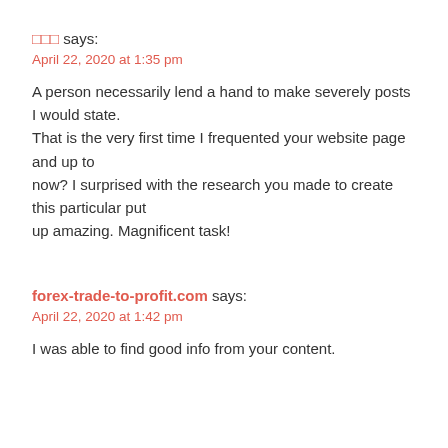□□□ says:
April 22, 2020 at 1:35 pm
A person necessarily lend a hand to make severely posts I would state.
That is the very first time I frequented your website page and up to
now? I surprised with the research you made to create this particular put
up amazing. Magnificent task!
forex-trade-to-profit.com says:
April 22, 2020 at 1:42 pm
I was able to find good info from your content.